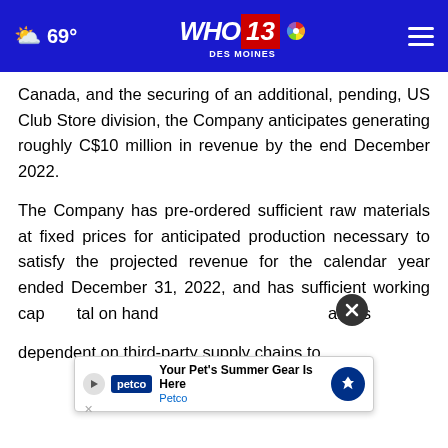69° WHO 13 DES MOINES
Canada, and the securing of an additional, pending, US Club Store division, the Company anticipates generating roughly C$10 million in revenue by the end December 2022.
The Company has pre-ordered sufficient raw materials at fixed prices for anticipated production necessary to satisfy the projected revenue for the calendar year ended December 31, 2022, and has sufficient working capital on hand... any is dependent on third-party supply chains to
[Figure (screenshot): Advertisement overlay: close button (X), Petco ad 'Your Pet's Summer Gear Is Here / Petco' with play button and navigation icon]